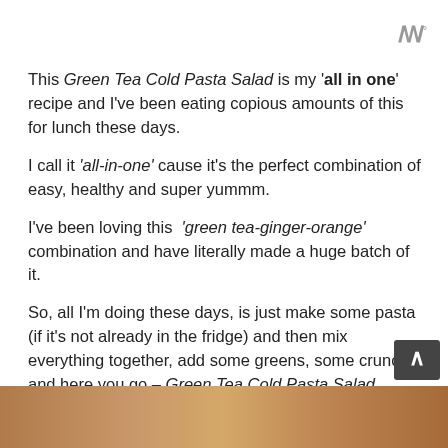ꟿ°
This Green Tea Cold Pasta Salad is my 'all in one' recipe and I've been eating copious amounts of this for lunch these days.
I call it 'all-in-one' cause it's the perfect combination of easy, healthy and super yummm.
I've been loving this  'green tea-ginger-orange' combination and have literally made a huge batch of it.
So, all I'm doing these days, is just make some pasta (if it's not already in the fridge) and then mix everything together, add some greens, some crunch and here you go – Green Tea Cold Pasta Salad.
[Figure (photo): Wooden table surface photo at bottom of page]